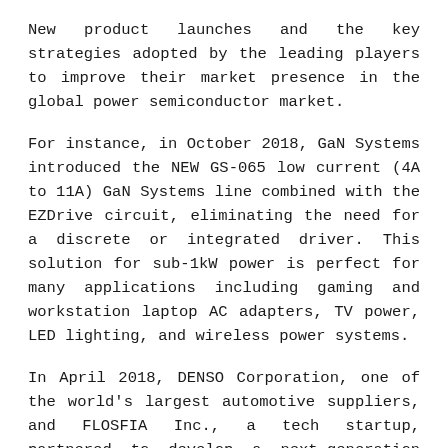New product launches and the key strategies adopted by the leading players to improve their market presence in the global power semiconductor market.
For instance, in October 2018, GaN Systems introduced the NEW GS-065 low current (4A to 11A) GaN Systems line combined with the EZDrive circuit, eliminating the need for a discrete or integrated driver. This solution for sub-1kW power is perfect for many applications including gaming and workstation laptop AC adapters, TV power, LED lighting, and wireless power systems.
In April 2018, DENSO Corporation, one of the world's largest automotive suppliers, and FLOSFIA Inc., a tech startup, partnered to develop a next-generation power semiconductor device expected to reduce the energy loss, cost, size, and weight of inverters used in electrified vehicles (EVs). With this partnership project, the two companies aim to improve the efficiency of EV power control units, a key to drive widespread EV use, and usher